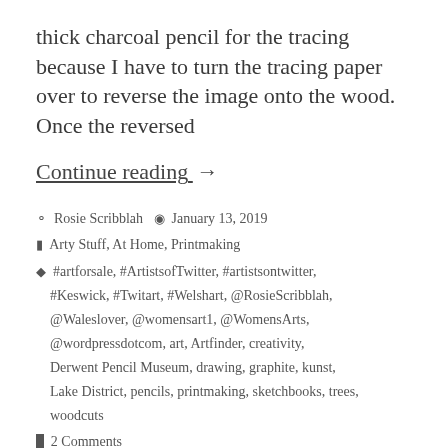thick charcoal pencil for the tracing because I have to turn the tracing paper over to reverse the image onto the wood. Once the reversed
Continue reading  →
Rosie Scribblah   January 13, 2019
Arty Stuff, At Home, Printmaking
#artforsale, #ArtistsofTwitter, #artistsontwitter, #Keswick, #Twitart, #Welshart, @RosieScribblah, @Waleslover, @womensart1, @WomensArts, @wordpressdotcom, art, Artfinder, creativity, Derwent Pencil Museum, drawing, graphite, kunst, Lake District, pencils, printmaking, sketchbooks, trees, woodcuts
2 Comments